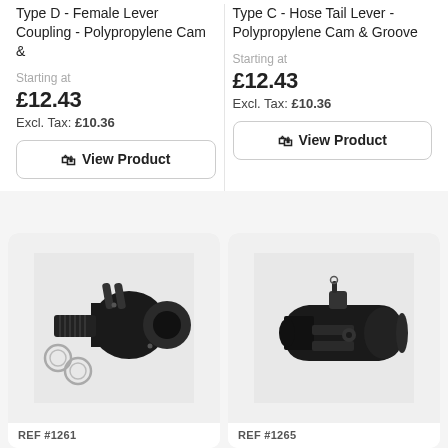Type D - Female Lever Coupling - Polypropylene Cam & Groove
Starting at
£12.43
Excl. Tax: £10.36
View Product
Type C - Hose Tail Lever - Polypropylene Cam & Groove
Starting at
£12.43
Excl. Tax: £10.36
View Product
[Figure (photo): Black polypropylene cam and groove coupling Type D with lever arms and threaded male end, photo on light grey background]
REF #1261
[Figure (photo): Black polypropylene cam and groove coupling Type C with lever arms and female socket end, photo on light grey background]
REF #1265